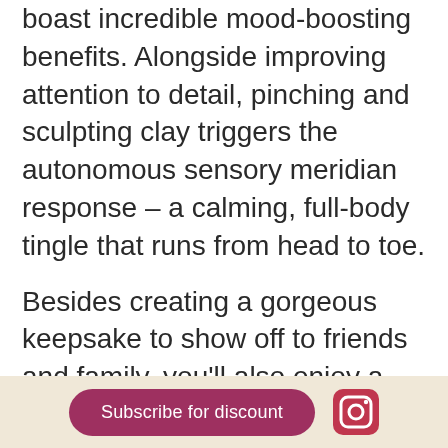Mother's Day gift ideas because they boast incredible mood-boosting benefits. Alongside improving attention to detail, pinching and sculpting clay triggers the autonomous sensory meridian response – a calming, full-body tingle that runs from head to toe.
Besides creating a gorgeous keepsake to show off to friends and family, you'll also enjoy a few Mother's Day tipples to get the creative juices flowing!
Take a spin on the famous pottery wheel
Subscribe for discount